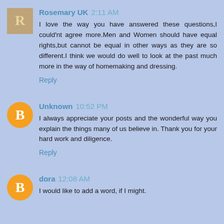Rosemary UK  2:11 AM
I love the way you have answered these questions,I could'nt agree more.Men and Women should have equal rights,but cannot be equal in other ways as they are so different.I think we would do well to look at the past much more in the way of homemaking and dressing.
Reply
Unknown  10:52 PM
I always appreciate your posts and the wonderful way you explain the things many of us believe in. Thank you for your hard work and diligence.
Reply
dora  12:08 AM
I would like to add a word, if I might.